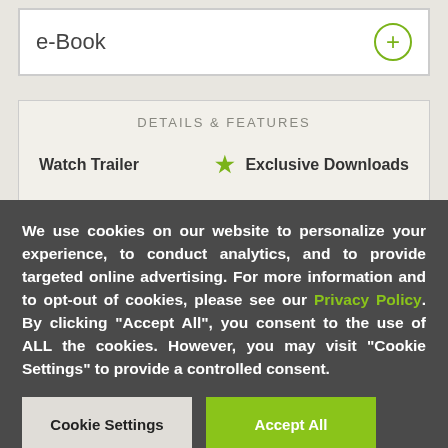e-Book
DETAILS & FEATURES
Watch Trailer
Exclusive Downloads
We use cookies on our website to personalize your experience, to conduct analytics, and to provide targeted online advertising. For more information and to opt-out of cookies, please see our Privacy Policy. By clicking "Accept All", you consent to the use of ALL the cookies. However, you may visit "Cookie Settings" to provide a controlled consent.
Cookie Settings
Accept All